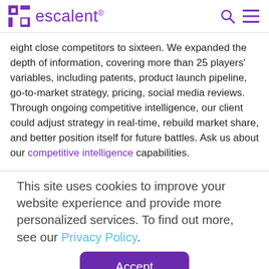escalent® [logo]
eight close competitors to sixteen. We expanded the depth of information, covering more than 25 players' variables, including patents, product launch pipeline, go-to-market strategy, pricing, social media reviews. Through ongoing competitive intelligence, our client could adjust strategy in real-time, rebuild market share, and better position itself for future battles. Ask us about our competitive intelligence capabilities.
This site uses cookies to improve your website experience and provide more personalized services. To find out more, see our Privacy Policy.